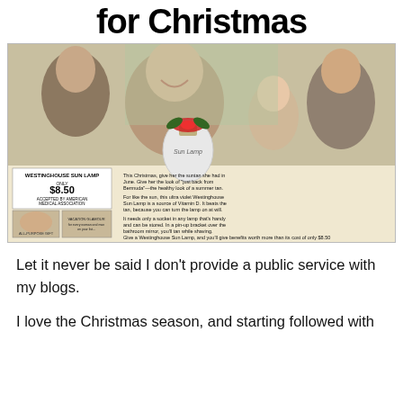for Christmas
[Figure (illustration): Vintage 1950s advertisement for Westinghouse Sun Lamp priced at $8.50, accepted by American Medical Association. Shows a smiling woman wearing a light bulb as a necklace with a red bow, surrounded by a man and child. Small inset images show a woman sunbathing and a woman at a mirror. Text describes benefits of the sun lamp including Vitamin D and tanning.]
Let it never be said I don’t provide a public service with my blogs.
I love the Christmas season, and starting followed with